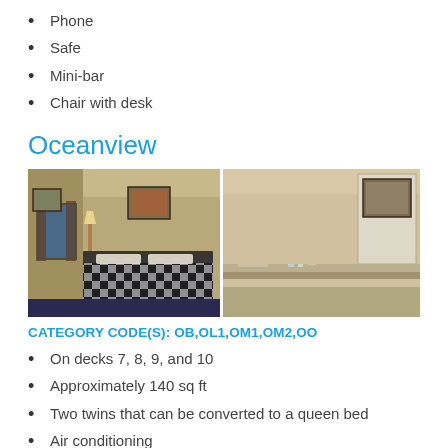Phone
Safe
Mini-bar
Chair with desk
Oceanview
[Figure (photo): Two side-by-side photos of an oceanview cruise ship cabin: left shows a bed with a black-and-white checkered comforter, wall art, lamp, and window with curtains; right shows a bathroom/vanity area with mirror, countertop, and amenities.]
CATEGORY CODE(S): OB,OL1,OM1,OM2,OO
On decks 7, 8, 9, and 10
Approximately 140 sq ft
Two twins that can be converted to a queen bed
Air conditioning
Private bath with shower
Hair dryer